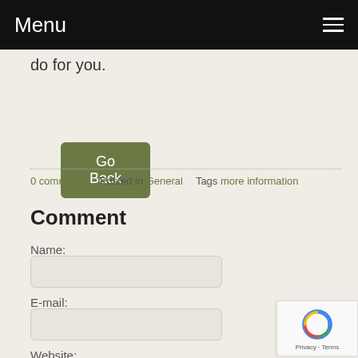Menu
do for you.
Go Back
0 comments   Posted in General   Tags more information
Comment
Name:
E-mail:
Website: